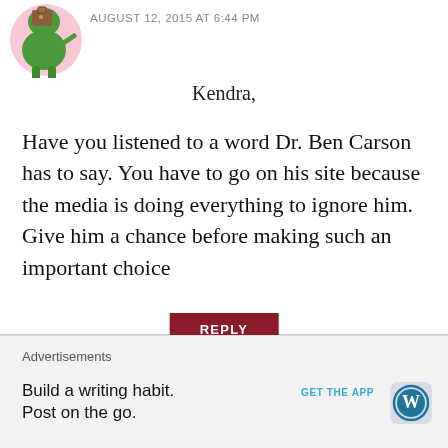AUGUST 12, 2015 AT 6:44 PM
Kendra,
Have you listened to a word Dr. Ben Carson has to say. You have to go on his site because the media is doing everything to ignore him. Give him a chance before making such an important choice
Like
REPLY
Advertisements
Advertisements
Build a writing habit. Post on the go.
GET THE APP